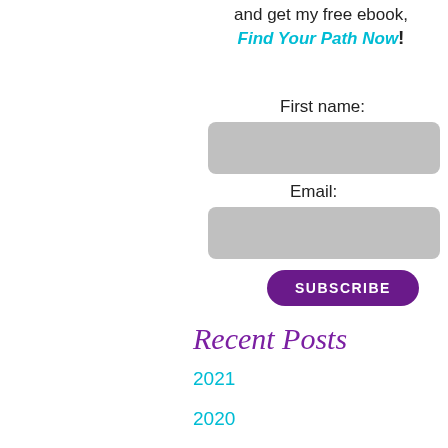and get my free ebook, Find Your Path Now!
First name:
[Figure (other): First name input field (gray rounded rectangle)]
Email:
[Figure (other): Email input field (gray rounded rectangle)]
SUBSCRIBE
Recent Posts
2021
2020